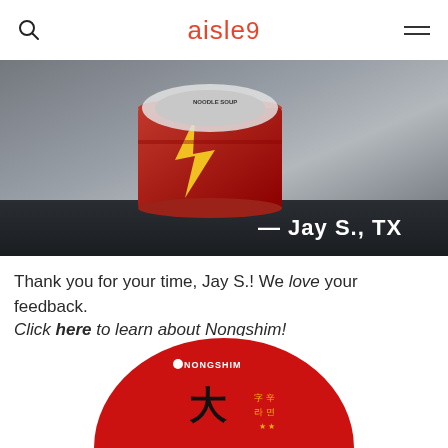aisle 9
[Figure (photo): Hero image of a Shin ramen noodle soup cup on a dark shelf with gray background. White text overlay reads '— Jay S., TX']
Thank you for your time, Jay S.! We love your feedback.
Click here to learn about Nongshim!
[Figure (photo): Bottom of Nongshim branded red circular lid/packaging partially visible at the bottom of the page]